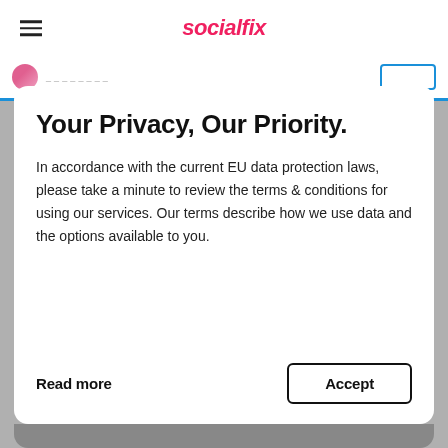socialfix
Your Privacy, Our Priority.
In accordance with the current EU data protection laws, please take a minute to review the terms & conditions for using our services. Our terms describe how we use data and the options available to you.
Read more
Accept